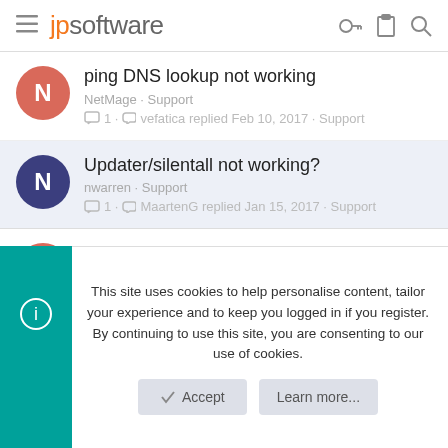jpsoftware
ping DNS lookup not working
NetMage · Support
1 · vefatica replied Feb 10, 2017 · Support
Updater/silentall not working?
nwarren · Support
1 · MaartenG replied Jan 15, 2017 · Support
Help Not Working
kapark · Support
11 · K_Meinhard replied Mar 9, 2017 · Support
This site uses cookies to help personalise content, tailor your experience and to keep you logged in if you register.
By continuing to use this site, you are consenting to our use of cookies.